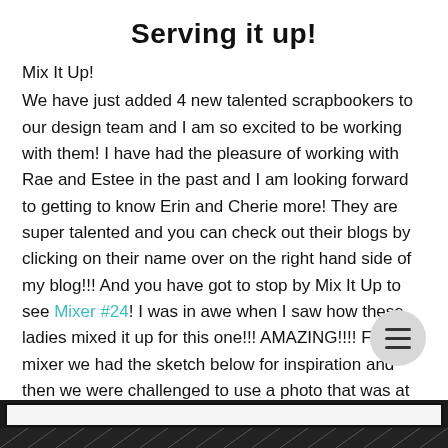Serving it up!
Mix It Up!
We have just added 4 new talented scrapbookers to our design team and I am so excited to be working with them! I have had the pleasure of working with Rae and Estee in the past and I am looking forward to getting to know Erin and Cherie more! They are super talented and you can check out their blogs by clicking on their name over on the right hand side of my blog!!! And you have got to stop by Mix It Up to see Mixer #24! I was in awe when I saw how these ladies mixed it up for this one!!! AMAZING!!!! For this mixer we had the sketch below for inspiration and then we were challe[nged to] use a photo that was at least 20 years old.
[Figure (other): Bottom strip showing a white bar inside a dark/black bordered rectangle, with a hatched/striped black section below it — appears to be the bottom of a scrapbook layout image partially visible.]